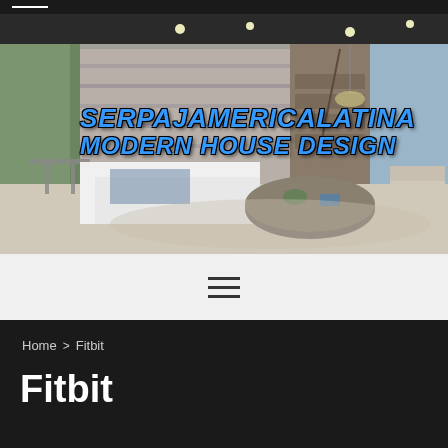[Figure (photo): Hero image of a modern luxury living room with open floor plan, white sofas, round coffee table, staircase, and large windows. Overlaid with bold blue italic text reading 'SERPAJAMERICALATINA MODERN HOUSE DESIGN']
[Figure (other): Navigation bar with hamburger menu icon (three horizontal lines)]
Home > Fitbit
Fitbit